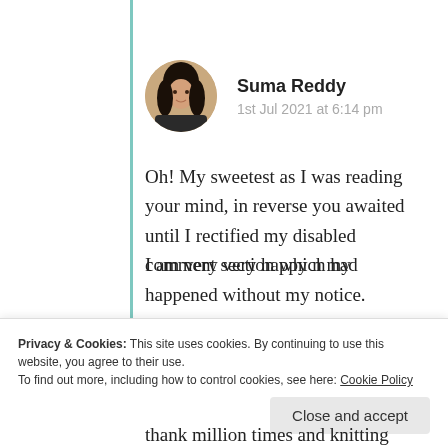[Figure (photo): Circular avatar photo of Suma Reddy, a woman with dark hair wearing a dark jacket, with a light background]
Suma Reddy
1st Jul 2021 at 6:14 pm
Oh! My sweetest as I was reading your mind, in reverse you awaited until I rectified my disabled comment section which had happened without my notice.
I am very very happy n my heartfelt
Privacy & Cookies: This site uses cookies. By continuing to use this website, you agree to their use.
To find out more, including how to control cookies, see here: Cookie Policy
Close and accept
thank million times and knitting each